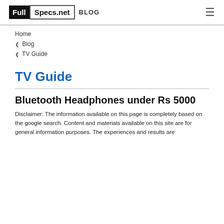FullSpecs.net BLOG
Home
❯ Blog
❯ TV Guide
TV Guide
Bluetooth Headphones under Rs 5000
Disclaimer: The information available on this page is completely based on the google search. Content and materials available on this site are for general information purposes. The experiences and results are